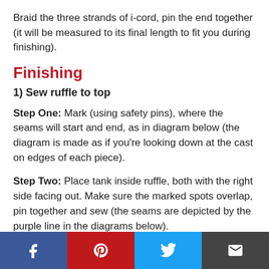Braid the three strands of i-cord, pin the end together (it will be measured to its final length to fit you during finishing).
Finishing
1) Sew ruffle to top
Step One: Mark (using safety pins), where the seams will start and end, as in diagram below (the diagram is made as if you're looking down at the cast on edges of each piece).
Step Two: Place tank inside ruffle, both with the right side facing out. Make sure the marked spots overlap, pin together and sew (the seams are depicted by the purple line in the diagrams below).
2) Weave in ends from top and ruffle.
[Figure (infographic): Social media sharing bar with Facebook, Pinterest, Twitter, and email buttons]